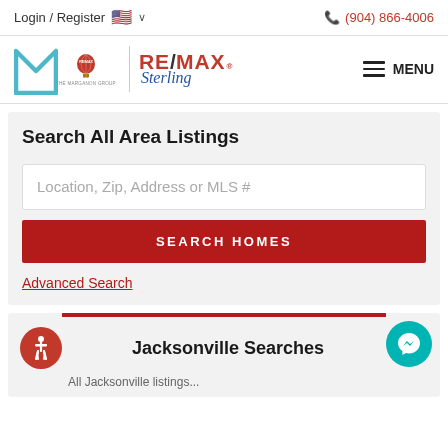Login / Register  🇺🇸 ∨    📞 (904) 866-4006
[Figure (logo): RE/MAX Sterling - The Marganon Group logo with stylized M, hot air balloon balloon, vertical divider, RE/MAX in red and Sterling in blue italic]
Search All Area Listings
Location, Zip, Address or MLS #
SEARCH HOMES
Advanced Search
Jacksonville Searches
All Jacksonville listings...